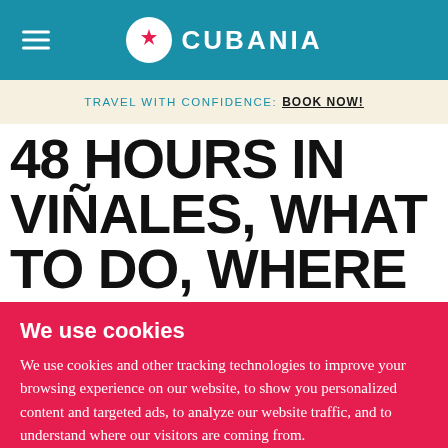CUBANIA
TRAVEL WITH CONFIDENCE: BOOK NOW!
48 HOURS IN VIÑALES, WHAT TO DO, WHERE TO EAT AND WHAT TO SEE
We use cookies
We use cookies and other tracking technologies to improve your browsing experience on our website, to show you personalized content and targeted ads, to analyze our website traffic, and to understand where our visitors are coming from.